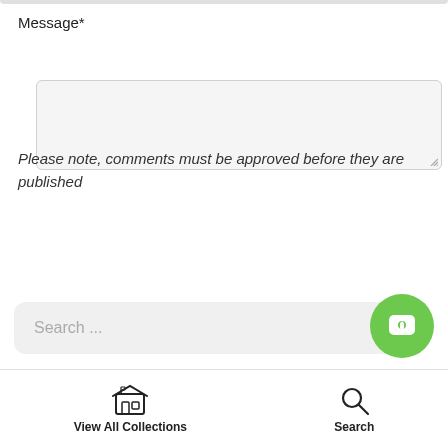Message*
[Figure (screenshot): Empty textarea input field with light gray background and resize handle]
Please note, comments must be approved before they are published
[Figure (screenshot): Black rounded button labeled POST COMMENT]
[Figure (screenshot): Search bar with placeholder text 'Search ...' and a green chat bubble icon on the right]
View All Collections    Search